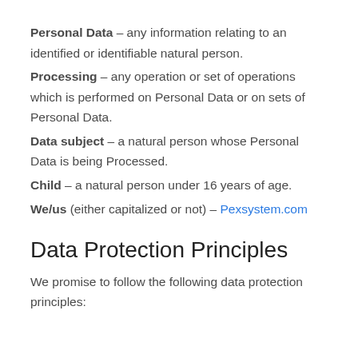Personal Data – any information relating to an identified or identifiable natural person.
Processing – any operation or set of operations which is performed on Personal Data or on sets of Personal Data.
Data subject – a natural person whose Personal Data is being Processed.
Child – a natural person under 16 years of age.
We/us (either capitalized or not) – Pexsystem.com
Data Protection Principles
We promise to follow the following data protection principles: